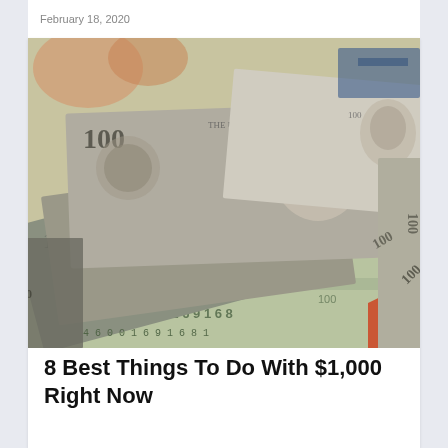February 18, 2020
[Figure (photo): Stack of US $100 dollar bills fanned out, close-up photograph showing faces of Benjamin Franklin and serial numbers on the bills]
8 Best Things To Do With $1,000 Right Now